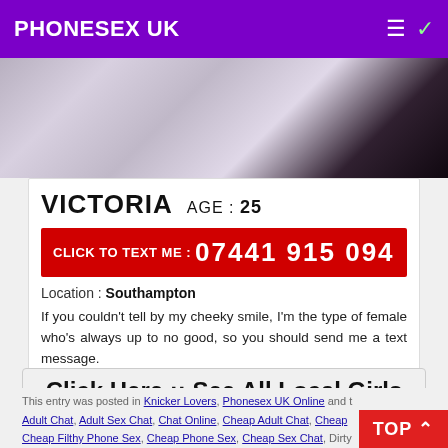PHONESEX UK
[Figure (photo): Partial photo of a blonde woman in dark clothing, cropped at top]
VICTORIA  AGE : 25
CLICK TO TEXT ME : 07441 915 094
Location : Southampton
If you couldn't tell by my cheeky smile, I'm the type of female who's always up to no good, so you should send me a text message.
Click Here :: See All Local Girls
Get Dirty Text Pictures & Messages Now
This entry was posted in Knicker Lovers, Phonesex UK Online and tagged Adult Chat, Adult Sex Chat, Chat Online, Cheap Adult Chat, Cheap Cheap Filthy Phone Sex, Cheap Phone Sex, Cheap Sex Chat, Dirty...